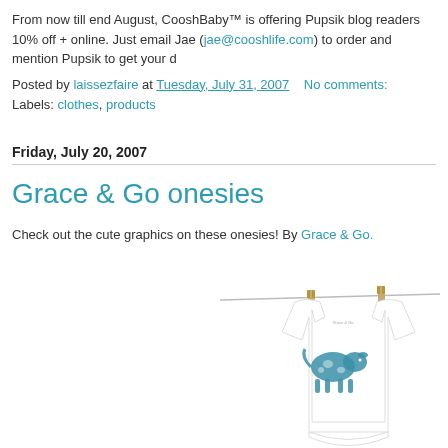From now till end August, CooshBaby™ is offering Pupsik blog readers 10% off + online. Just email Jae (jae@cooshlife.com) to order and mention Pupsik to get your d
Posted by laissezfaire at Tuesday, July 31, 2007   No comments:
Labels: clothes, products
Friday, July 20, 2007
Grace & Go onesies
Check out the cute graphics on these onesies! By Grace & Go.
[Figure (photo): A white baby onesie hanging on a clothesline with two wooden clothespins, featuring a blue animal graphic (appears to be a spotted/dotted animal) on the front.]